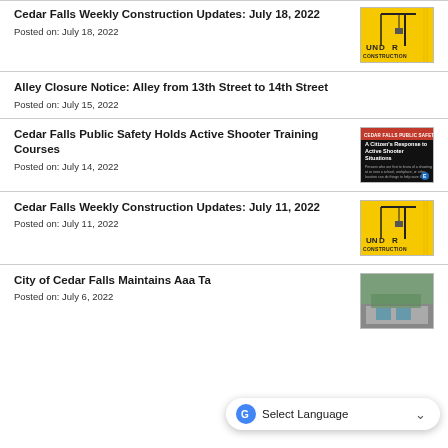Cedar Falls Weekly Construction Updates: July 18, 2022
Posted on: July 18, 2022
[Figure (illustration): Yellow 'Under Construction' graphic with construction crane]
Alley Closure Notice: Alley from 13th Street to 14th Street
Posted on: July 15, 2022
Cedar Falls Public Safety Holds Active Shooter Training Courses
Posted on: July 14, 2022
[Figure (illustration): Black poster: A Citizen's Response to Active Shooter Situations]
Cedar Falls Weekly Construction Updates: July 11, 2022
Posted on: July 11, 2022
[Figure (illustration): Yellow 'Under Construction' graphic with construction crane]
City of Cedar Falls Maintains Aaa Ta...
Posted on: July 6, 2022
[Figure (photo): Aerial photo of Cedar Falls area]